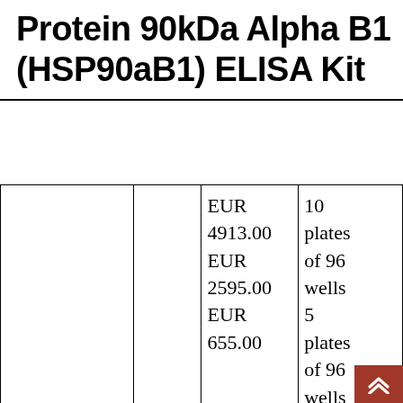Protein 90kDa Alpha B1 (HSP90aB1) ELISA Kit
|  |  | Price | Pack Size |
| --- | --- | --- | --- |
| 4-SED522Mu | Cloud-Clone | EUR 4913.00
EUR 2595.00
EUR 655.00 | 10 plates of 96 wells
5 plates of 96 wells
1 plate... |